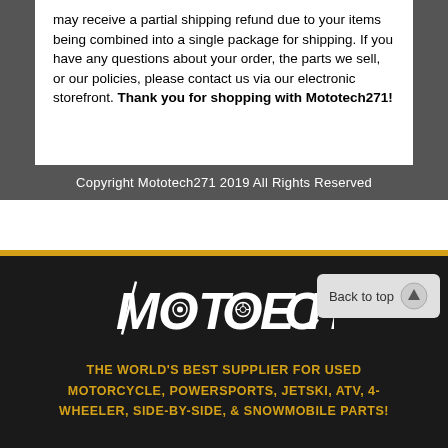may receive a partial shipping refund due to your items being combined into a single package for shipping. If you have any questions about your order, the parts we sell, or our policies, please contact us via our electronic storefront. Thank you for shopping with Mototech271!
Copyright Mototech271 2019 All Rights Reserved
[Figure (logo): Mototech logo in white stylized text on dark background, with 'Back to top' button on the right]
THE WORLD'S BEST SUPPLIER FOR USED MOTORCYCLE, POWERSPORTS, JETSKI, ATV, 4-WHEELER, SIDE-BY-SIDE, & SNOWMOBILE PARTS!